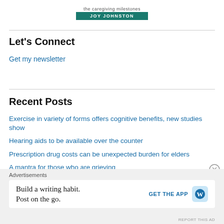[Figure (illustration): Top portion of a book cover with title text and author name 'JOY JOHNSTON' on a teal/green banner]
Let's Connect
Get my newsletter
Recent Posts
Exercise in variety of forms offers cognitive benefits, new studies show
Hearing aids to be available over the counter
Prescription drug costs can be unexpected burden for elders
A mantra for those who are grieving
What to make of the surprising findings in the new vitamin D study
Advertisements
Build a writing habit. Post on the go.
GET THE APP